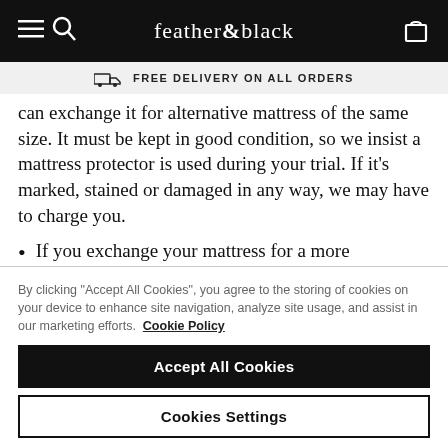feather&black
FREE DELIVERY ON ALL ORDERS
can exchange it for alternative mattress of the same size. It must be kept in good condition, so we insist a mattress protector is used during your trial. If it's marked, stained or damaged in any way, we may have to charge you.
If you exchange your mattress for a more expensive style, you will be charged the difference. If you opt for a less expensive mattress,
By clicking “Accept All Cookies”, you agree to the storing of cookies on your device to enhance site navigation, analyze site usage, and assist in our marketing efforts. Cookie Policy
Accept All Cookies
Cookies Settings